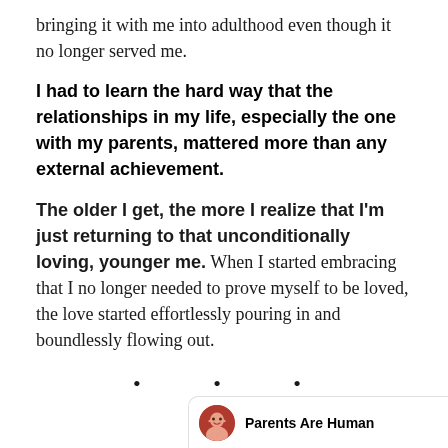bringing it with me into adulthood even though it no longer served me.
I had to learn the hard way that the relationships in my life, especially the one with my parents, mattered more than any external achievement.
The older I get, the more I realize that I'm just returning to that unconditionally loving, younger me. When I started embracing that I no longer needed to prove myself to be loved, the love started effortlessly pouring in and boundlessly flowing out.
• • •
Parents Are Human